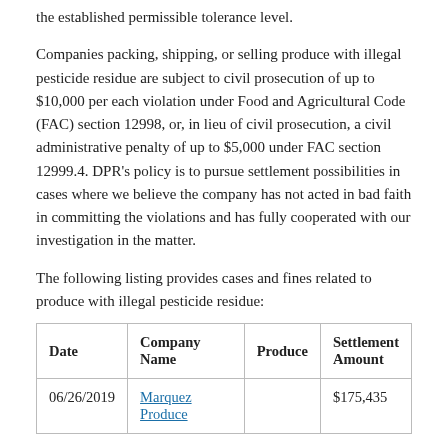the established permissible tolerance level.
Companies packing, shipping, or selling produce with illegal pesticide residue are subject to civil prosecution of up to $10,000 per each violation under Food and Agricultural Code (FAC) section 12998, or, in lieu of civil prosecution, a civil administrative penalty of up to $5,000 under FAC section 12999.4. DPR's policy is to pursue settlement possibilities in cases where we believe the company has not acted in bad faith in committing the violations and has fully cooperated with our investigation in the matter.
The following listing provides cases and fines related to produce with illegal pesticide residue:
| Date | Company Name | Produce | Settlement Amount |
| --- | --- | --- | --- |
| 06/26/2019 | Marquez Produce |  | $175,435 |